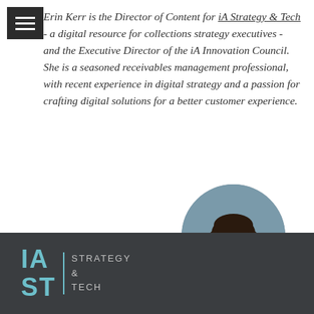[Figure (other): Hamburger menu icon (three horizontal white lines on dark background) in top-left corner]
Erin Kerr is the Director of Content for iA Strategy & Tech - a digital resource for collections strategy executives - and the Executive Director of the iA Innovation Council. She is a seasoned receivables management professional, with recent experience in digital strategy and a passion for crafting digital solutions for a better customer experience.
[Figure (logo): iA Strategy & Tech logo: 'IA ST' in teal large letters beside a vertical teal rule and 'STRATEGY & TECH' text in light grey, on a dark charcoal banner background]
[Figure (photo): Circular headshot photo of a woman with dark hair smiling, wearing a white top, against a grey-blue background, overlapping the bottom dark banner]